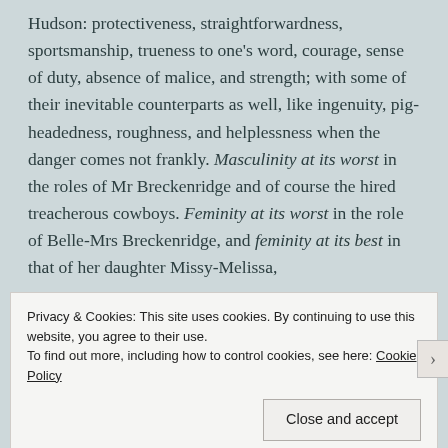Hudson: protectiveness, straightforwardness, sportsmanship, trueness to one's word, courage, sense of duty, absence of malice, and strength; with some of their inevitable counterparts as well, like ingenuity, pig-headedness, roughness, and helplessness when the danger comes not frankly. Masculinity at its worst in the roles of Mr Breckenridge and of course the hired treacherous cowboys. Feminity at its worst in the role of Belle-Mrs Breckenridge, and feminity at its best in that of her daughter Missy-Melissa,
Privacy & Cookies: This site uses cookies. By continuing to use this website, you agree to their use.
To find out more, including how to control cookies, see here: Cookie Policy